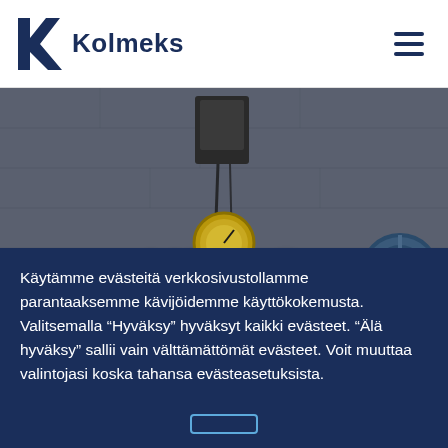[Figure (logo): Kolmeks logo — dark navy K symbol followed by the word Kolmeks in bold dark navy text]
[Figure (photo): Industrial HVAC/mechanical equipment photo showing pressure gauges, pipes, valves mounted on a concrete wall, partially overlaid with the text HVAC]
Käytämme evästeitä verkkosivustollamme parantaaksemme kävijöidemme käyttökokemusta. Valitsemalla "Hyväksy" hyväksyt kaikki evästeet. "Älä hyväksy" sallii vain välttämättömät evästeet. Voit muuttaa valintojasi koska tahansa evästeasetuksista.